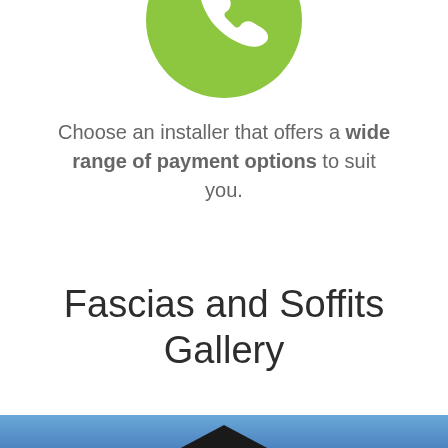[Figure (illustration): Green circle icon with a white phone handset symbol, partially cropped at the top]
Choose an installer that offers a wide range of payment options to suit you.
Fascias and Soffits Gallery
[Figure (photo): Photograph of a rooftop silhouette against a blue sky, partially cropped at the bottom of the page]